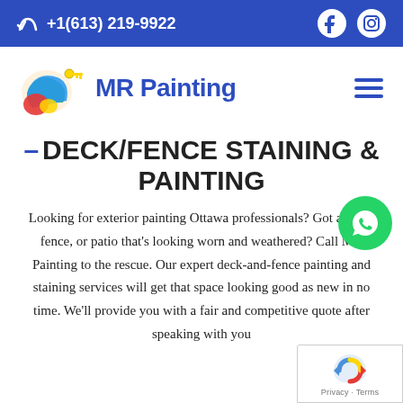+1(613) 219-9922
[Figure (logo): MR Painting company logo with colorful swirl and key icon]
- DECK/FENCE STAINING & PAINTING
[Figure (other): WhatsApp contact button (green circle with phone icon)]
Looking for exterior painting Ottawa professionals? Got a deck, fence, or patio that's looking worn and weathered? Call MR Painting to the rescue. Our expert deck-and-fence painting and staining services will get that space looking good as new in no time. We'll provide you with a fair and competitive quote after speaking with you